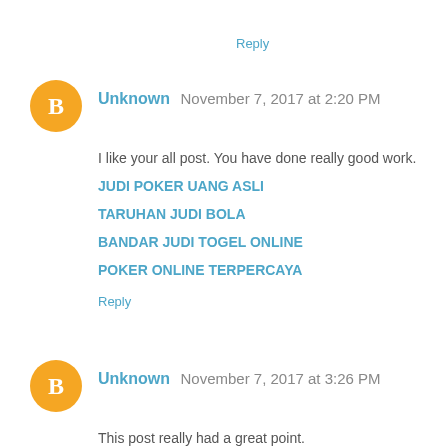Reply
Unknown November 7, 2017 at 2:20 PM
I like your all post. You have done really good work.
JUDI POKER UANG ASLI
TARUHAN JUDI BOLA
BANDAR JUDI TOGEL ONLINE
POKER ONLINE TERPERCAYA
Reply
Unknown November 7, 2017 at 3:26 PM
This post really had a great point.